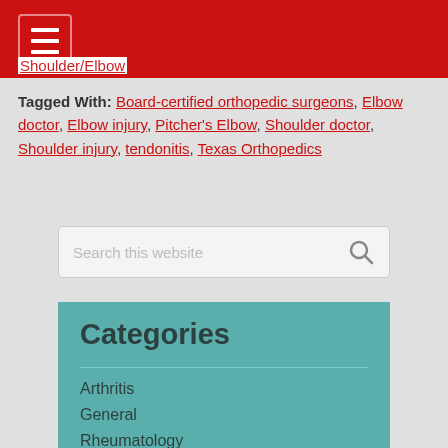Shoulder/Elbow (partial link visible)
Tagged With: Board-certified orthopedic surgeons, Elbow doctor, Elbow injury, Pitcher's Elbow, Shoulder doctor, Shoulder injury, tendonitis, Texas Orthopedics
[Figure (other): Search box with placeholder text 'Search this website' and a magnifying glass icon]
Categories
Arthritis
General
Rheumatology
Sports Medicine
Spine